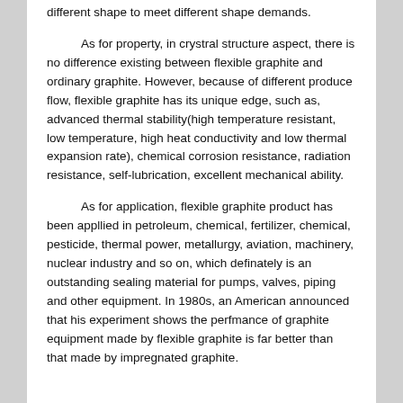different shape to meet different shape demands.
As for property, in crystral structure aspect, there is no difference existing between flexible graphite and ordinary graphite. However, because of different produce flow, flexible graphite has its unique edge, such as, advanced thermal stability(high temperature resistant, low temperature, high heat conductivity and low thermal expansion rate), chemical corrosion resistance, radiation resistance, self-lubrication, excellent mechanical ability.
As for application, flexible graphite product has been appllied in petroleum, chemical, fertilizer, chemical, pesticide, thermal power, metallurgy, aviation, machinery, nuclear industry and so on, which definately is an outstanding sealing material for pumps, valves, piping and other equipment. In 1980s, an American announced that his experiment shows the perfmance of graphite equipment made by flexible graphite is far better than that made by impregnated graphite.